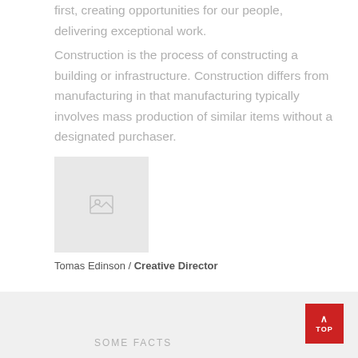first, creating opportunities for our people, delivering exceptional work.
Construction is the process of constructing a building or infrastructure. Construction differs from manufacturing in that manufacturing typically involves mass production of similar items without a designated purchaser.
[Figure (photo): Placeholder image with a small image icon in the center, light gray background]
Tomas Edinson / Creative Director
SOME FACTS